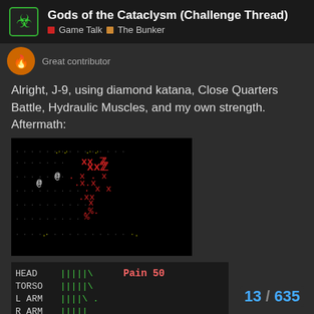Gods of the Cataclysm (Challenge Thread) | Game Talk | The Bunker
Great contributor
Alright, J-9, using diamond katana, Close Quarters Battle, Hydraulic Muscles, and my own strength.
Aftermath:
[Figure (screenshot): Cataclysm game screenshot showing combat aftermath with red zombie sprites on black background, player @ symbol, yellow dots]
[Figure (screenshot): Character stats panel showing HEAD, TORSO, L ARM, R ARM, L LEG, R LEG, POWER stats with green health bars, Pain 50 in red, Focus 56, Spd 59 108, POWER 503477, Comfortable in green]
And my survivor suit is slightly damaged. B... challenges!